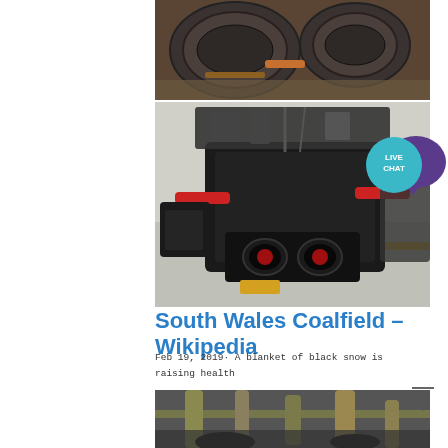[Figure (photo): Close-up photo of heavy industrial metal rollers/cylinders, dark grey metallic surface]
[Figure (photo): Industrial coal mining machine - large black heavy crusher/shredder equipment in a factory setting]
[Figure (illustration): Live Chat icon - teal circle with LIVE CHAT text and purple speech bubble]
South Wales Coalfield – Wikipedia
Feb 19, 2019· A blanket of black snow is raising health concerns in coal-mining regions of Russia's Siberia. FREE In Google Play. Get. Show me the weather in... city, zip, or place ... Maps...
[Figure (photo): Industrial facility interior with pipes and machinery, partial view at bottom of page]
[Figure (illustration): Scroll-to-top button with horizontal line and upward arrow]